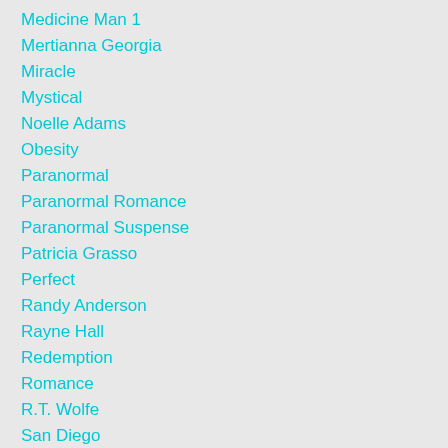Medicine Man 1
Mertianna Georgia
Miracle
Mystical
Noelle Adams
Obesity
Paranormal
Paranormal Romance
Paranormal Suspense
Patricia Grasso
Perfect
Randy Anderson
Rayne Hall
Redemption
Romance
R.T. Wolfe
San Diego
Soul Sucker
Stephanie Alexander